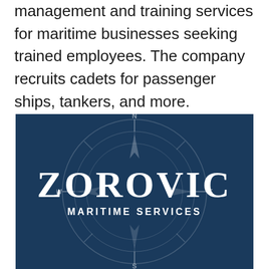Zorovic Maritime Services is providing crew management and training services for maritime businesses seeking trained employees. The company recruits cadets for passenger ships, tankers, and more.
[Figure (logo): Zorovic Maritime Services logo on a dark navy blue background with a compass rose watermark behind the text. Large bold serif text reads 'ZOROVIC' with 'MARITIME SERVICES' below in smaller spaced sans-serif capitals.]